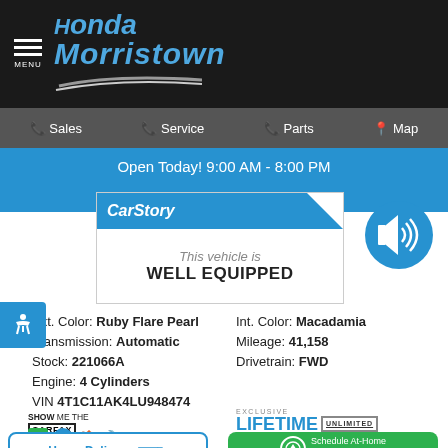[Figure (logo): Honda Morristown dealership logo with blue italic text and swoosh graphic on black background]
Sales | Service | Parts | Map
Open Today! 9:00 AM - 8:00 PM
[Figure (logo): CarStory badge: This vehicle is WELL EQUIPPED]
[Figure (illustration): Blue circle with audio/speaker icon]
Ext. Color: Ruby Flare Pearl
Int. Color: Macadamia
Transmission: Automatic
Mileage: 41,158
Stock: 221066A
Drivetrain: FWD
Engine: 4 Cylinders
VIN 4T1C11AK4LU948474
[Figure (logo): Show Me The CARFAX 1 Owner badge]
[Figure (logo): Exclusive Lifetime Unlimited Warranty Time & Miles badge]
[Figure (illustration): Home Delivery button]
[Figure (illustration): Schedule At-Home Test Drive button]